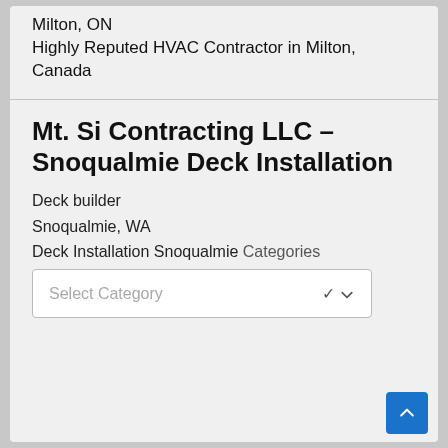Milton, ON
Highly Reputed HVAC Contractor in Milton, Canada
Mt. Si Contracting LLC – Snoqualmie Deck Installation
Deck builder
Snoqualmie, WA
Deck Installation Snoqualmie
Categories
Select Category